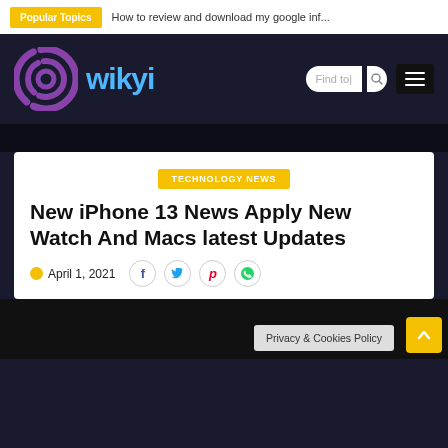Popular Topics — How to review and download my google inf...
[Figure (logo): Wikyi website logo: spiral swirl icon in blue-purple gradient with 'wikyi' text in blue, search box 'Find to|' and hamburger menu on dark background]
TECHNOLOGY NEWS
New iPhone 13 News Apply New Watch And Macs latest Updates
April 1, 2021
Privacy & Cookies Policy